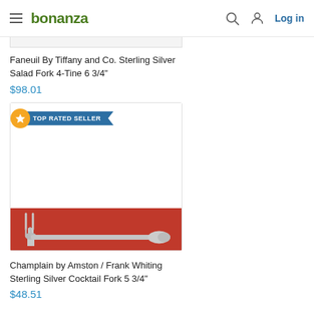bonanza — Log in
[Figure (photo): Partial product image at top (cropped salad fork listing)]
Faneuil By Tiffany and Co. Sterling Silver Salad Fork 4-Tine 6 3/4"
$98.01
[Figure (photo): Product card with TOP RATED SELLER badge showing a silver cocktail fork on a red background — Champlain by Amston / Frank Whiting Sterling Silver Cocktail Fork 5 3/4"]
Champlain by Amston / Frank Whiting Sterling Silver Cocktail Fork 5 3/4"
$48.51